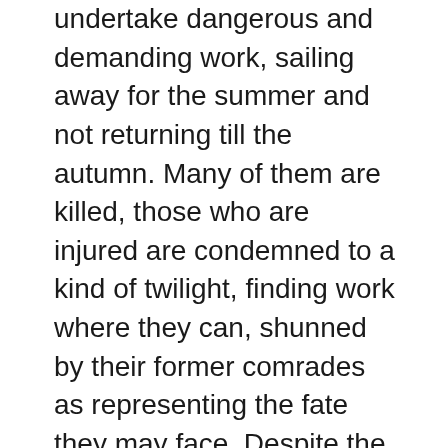undertake dangerous and demanding work, sailing away for the summer and not returning till the autumn. Many of them are killed, those who are injured are condemned to a kind of twilight, finding work where they can, shunned by their former comrades as representing the fate they may face. Despite the terrifying nature of their work, the loss of it feels worse. Demand is already falling as synthetic sponges become more widespread. Many men are trying to emigrate, other families on the island are reliant on those who have already left.
There is also poignancy when they visit a convent and their friend-cum-housekeeper  talks wistfully about being a nun. They are surprised initially but then Clift thinks about the demands on women on the island — married at a young age, producing babies year after year, keeping the household together while